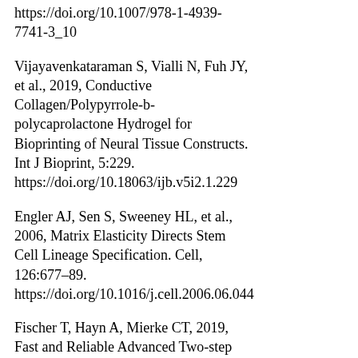https://doi.org/10.1007/978-1-4939-7741-3_10
Vijayavenkataraman S, Vialli N, Fuh JY, et al., 2019, Conductive Collagen/Polypyrrole-b-polycaprolactone Hydrogel for Bioprinting of Neural Tissue Constructs. Int J Bioprint, 5:229. https://doi.org/10.18063/ijb.v5i2.1.229
Engler AJ, Sen S, Sweeney HL, et al., 2006, Matrix Elasticity Directs Stem Cell Lineage Specification. Cell, 126:677–89. https://doi.org/10.1016/j.cell.2006.06.044
Fischer T, Hayn A, Mierke CT, 2019, Fast and Reliable Advanced Two-step Pore-size Analysis of Biomimetic 3D Extracellular Matrix Scaffolds. Sci Rep, 9:8352. https://doi.org/10.1038/s41598-019-44764-5